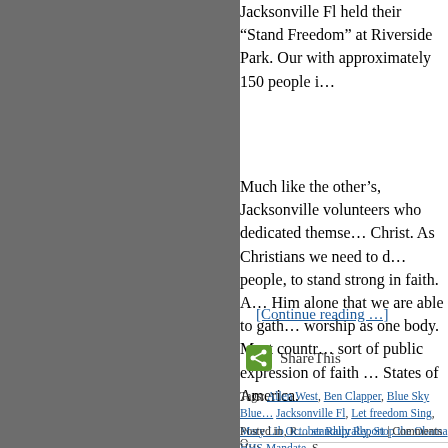Jacksonville Fl held their “Stand Freedom” at Riverside Park. Our with approximately 150 people i…
Much like the other’s, Jacksonville volunteers who dedicated themse… Christ. As Christians we need to d… people, to stand strong in faith. A… Him alone that we are able to gath… worship as one body. Most countr… sort of public expression of faith … States of America.
[Continue reading …]
ShareThis
Tags: Allen West, Ben Clapper, Blue Sky Blue… Jacksonville Fl, Let freedom Sing, Mary Lib, R… standuprally, Stop the Obama HHS Mandate, S…
Posted in October Rally Report | Comments O…